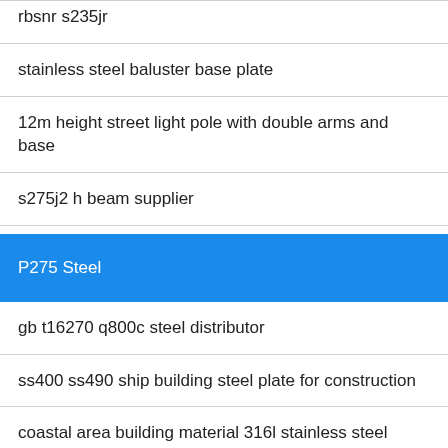rbsnr s235jr
stainless steel baluster base plate
12m height street light pole with double arms and base
s275j2 h beam supplier
P275 Steel
gb t16270 q800c steel distributor
ss400 ss490 ship building steel plate for construction
coastal area building material 316l stainless steel sheet
[Figure (infographic): Three blue sidebar buttons with icons: headset/customer support icon, phone icon, and Skype icon]